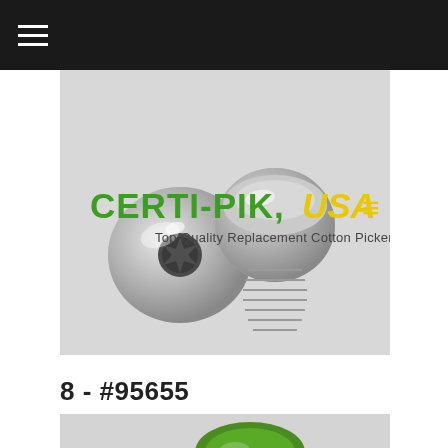[Figure (photo): Product photo showing two small chrome/silver torx screws on a light gray background, with Certi-Pik USA logo and tagline 'Top Quality Replacement Cotton Picker Parts' overlaid in green and yellow text]
8 - #95655
[Figure (photo): Partial product photo showing the bottom portion of a green-colored part on a light gray background]